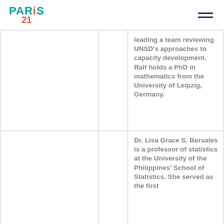PARIS21
|  |  | leading a team reviewing UNSD's approaches to capacity development. Ralf holds a PhD in mathematics from the University of Leipzig, Germany. |
|  |  | Dr. Lisa Grace S. Bersales is a professor of statistics at the University of the Philippines' School of Statistics. She served as the first |